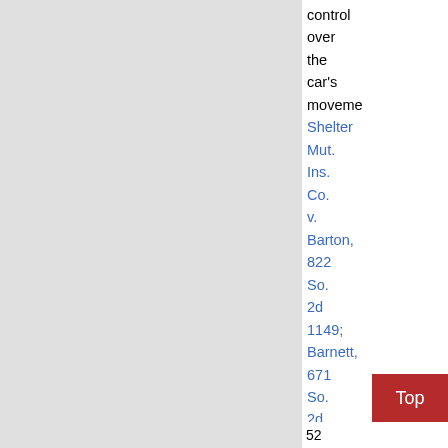[Figure (screenshot): Gray placeholder area representing a screenshot or image on the left side of the page]
control over the car's movements Shelter Mut. Ins. Co. v. Barton, 822 So. 2d 1149; Barnett, 671 So. 2d at 719;
This website uses cookies to ensure you get the best experience on our website.
Learn more
Got it!
Top
52